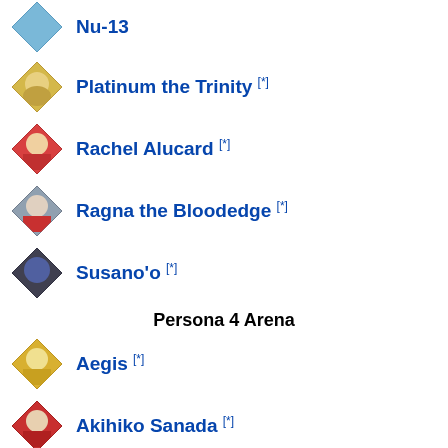Nu-13 [*]
Platinum the Trinity [*]
Rachel Alucard [*]
Ragna the Bloodedge [*]
Susano'o [*]
Persona 4 Arena
Aegis [*]
Akihiko Sanada [*]
Chie Satonaka [*]
Elizabeth [*]
Kanji Tatsumi [*]
Labrys [*]
Mitsuru Kirijo [*]